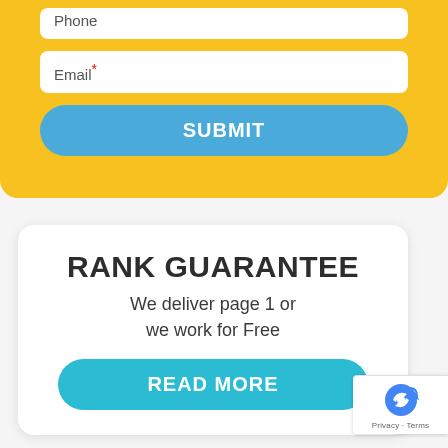[Figure (screenshot): Phone input field (white rounded rectangle) on yellow background]
[Figure (screenshot): Email required input field (white rounded rectangle) on yellow background with red asterisk]
[Figure (screenshot): Blue SUBMIT button on yellow background]
RANK GUARANTEE
We deliver page 1 or we work for Free
[Figure (screenshot): Teal READ MORE button]
[Figure (logo): Google reCAPTCHA logo with Privacy and Terms text]